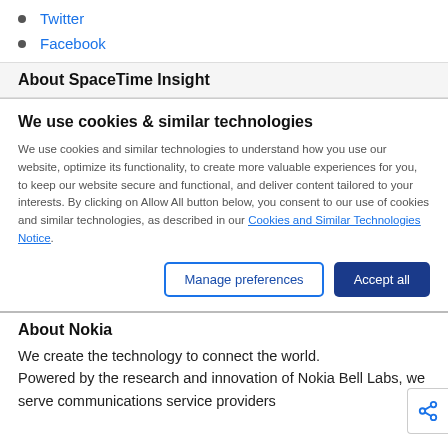Twitter
Facebook
About SpaceTime Insight
We use cookies & similar technologies
We use cookies and similar technologies to understand how you use our website, optimize its functionality, to create more valuable experiences for you, to keep our website secure and functional, and deliver content tailored to your interests. By clicking on Allow All button below, you consent to our use of cookies and similar technologies, as described in our Cookies and Similar Technologies Notice.
Manage preferences | Accept all
About Nokia
We create the technology to connect the world. Powered by the research and innovation of Nokia Bell Labs, we serve communications service providers